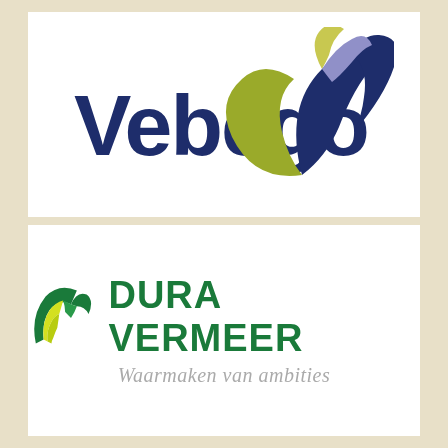[Figure (logo): Vebego company logo: bold dark blue 'Vebego' text with a stylized multi-colored swoosh/flower symbol in olive green, yellow-green, lavender, and dark navy blue to the right]
[Figure (logo): Dura Vermeer company logo: fan-shaped icon with green and yellow stripes on left, bold green 'DURA VERMEER' text, and gray italic tagline 'Waarmaken van ambities']